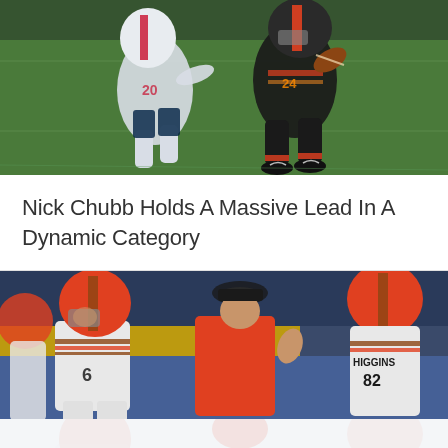[Figure (photo): NFL football action shot: Cleveland Browns running back Nick Chubb (#24) in dark uniform carrying football, evading a Houston Texans defender (#20) in white uniform on a green field]
Nick Chubb Holds A Massive Lead In A Dynamic Category
[Figure (photo): Cleveland Browns sideline photo: quarterback Baker Mayfield (#6) in white uniform with brown and orange helmet, a coach in orange jacket with headset, and player Higgins (#82) visible on the right, with yellow and blue stadium background]